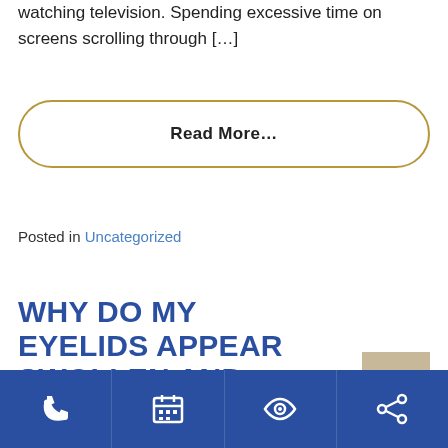watching television. Spending excessive time on screens scrolling through […]
Read More…
Posted in Uncategorized
WHY DO MY EYELIDS APPEAR SWOLLEN AND RED?